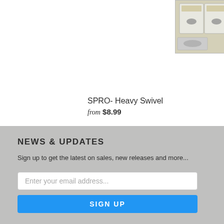[Figure (photo): Product photo of SPRO Heavy Swivel fishing tackle items in packaging bags displayed on a yellow/beige background]
SPRO- Heavy Swivel
from $8.99
NEWS & UPDATES
Sign up to get the latest on sales, new releases and more...
Enter your email address...
SIGN UP